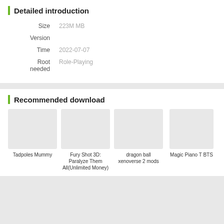Detailed introduction
| Label | Value |
| --- | --- |
| Size | 223M MB |
| Version |  |
| Time | 2022-07-07 |
| Root needed | Role-Playing |
Recommended download
[Figure (illustration): Four app thumbnails: Tadpoles Mummy, Fury Shot 3D: Paralyze Them All(Unlimited Money), dragon ball xenoverse 2 mods, Magic Piano T BTS]
Tadpoles Mummy
Fury Shot 3D: Paralyze Them All(Unlimited Money)
dragon ball xenoverse 2 mods
Magic Piano T BTS